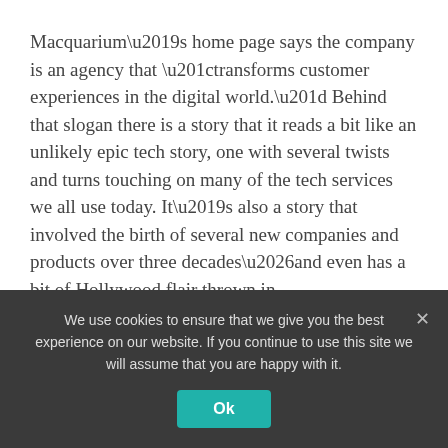Macquarium’s home page says the company is an agency that “transforms customer experiences in the digital world.” Behind that slogan there is a story that it reads a bit like an unlikely epic tech story, one with several twists and turns touching on many of the tech services we all use today. It’s also a story that involved the birth of several new companies and products over three decades…and even has a bit of Hollywood flair thrown in.
But before the tech adventures, there was just founder Marc Adler in his Emory University dorm room working at a video production company.
We use cookies to ensure that we give you the best experience on our website. If you continue to use this site we will assume that you are happy with it.